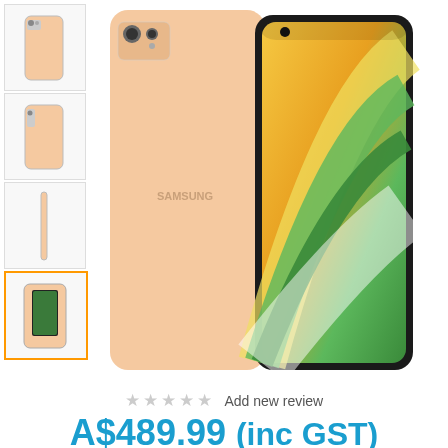[Figure (photo): Samsung Galaxy smartphone in Peach Pink color shown from back and front, with colorful wallpaper visible on screen. Four thumbnail images on left sidebar.]
★★★★★ Add new review
A$489.99 (inc GST)
RRP: A$584.99 Save: A$95.00 (16%)
In Stock Now — 5 Available
Condition: New!
Black | Blue | Peach Pink | White
Add an Extended Service Plan to your smartphone for A$71.99 (inc GST)